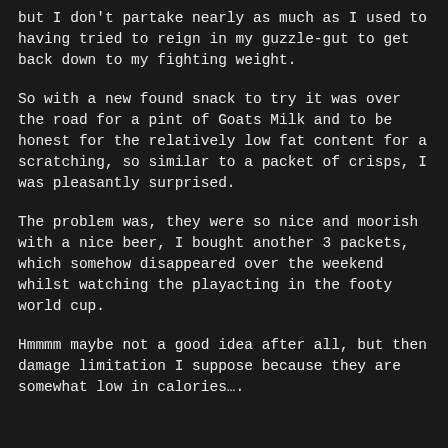but I don't partake nearly as much as I used to having tried to reign in my guzzle-gut to get back down to my fighting weight.
So with a new found snack to try it was over the road for a pint of Goats Milk and to be honest for the relatively low fat content for a scratching, so similar to a packet of crisps, I was pleasantly surprised.
The problem was, they were so nice and moorish with a nice beer, I bought another 3 packets, which somehow disappeared over the weekend whilst watching the playacting in the footy world cup.
Hmmmm maybe not a good idea after all, but then damage limitation I suppose because they are somewhat low in calories….